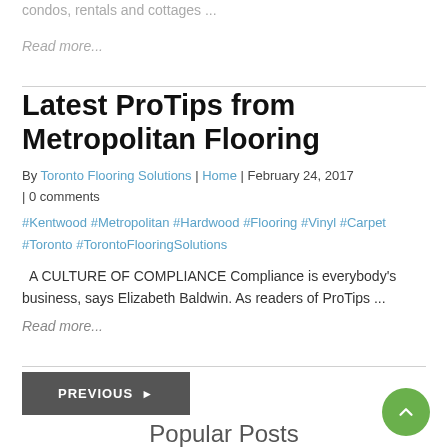condos, rentals and cottages ...
Read more...
Latest ProTips from Metropolitan Flooring
By Toronto Flooring Solutions | Home | February 24, 2017 | 0 comments
#Kentwood #Metropolitan #Hardwood #Flooring #Vinyl #Carpet #Toronto #TorontoFlooringSolutions
A CULTURE OF COMPLIANCE Compliance is everybody's business, says Elizabeth Baldwin. As readers of ProTips ...
Read more...
PREVIOUS ▶
Popular Posts